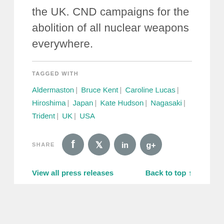the UK. CND campaigns for the abolition of all nuclear weapons everywhere.
TAGGED WITH
Aldermaston | Bruce Kent | Caroline Lucas | Hiroshima | Japan | Kate Hudson | Nagasaki | Trident | UK | USA
SHARE
View all press releases
Back to top ↑